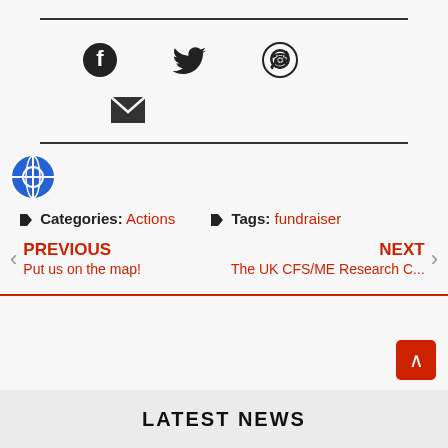[Figure (infographic): Horizontal rule divider at top of page]
[Figure (infographic): Social media share icons: Facebook, Twitter, WhatsApp, Email]
[Figure (infographic): Horizontal rule divider below social icons]
[Figure (logo): Blue globe/network icon]
Categories: Actions   Tags: fundraiser
PREVIOUS
Put us on the map!
NEXT
The UK CFS/ME Research C...
LATEST NEWS